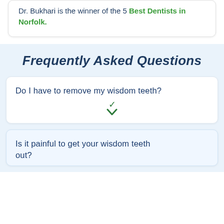Dr. Bukhari is the winner of the 5 Best Dentists in Norfolk.
Frequently Asked Questions
Do I have to remove my wisdom teeth?
Is it painful to get your wisdom teeth out?